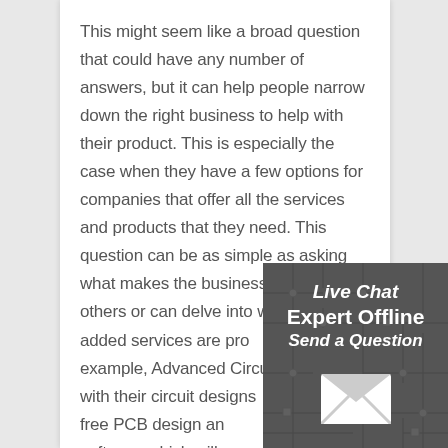This might seem like a broad question that could have any number of answers, but it can help people narrow down the right business to help with their product. This is especially the case when they have a few options for companies that offer all the services and products that they need. This question can be as simple as asking what makes the business different from others or can delve into what value-added services are provided. For example, Advanced Circuits can help with their circuit designs by providing free PCB design and design check software which will save customers money and time.
[Figure (infographic): Live Chat widget overlay showing 'Live Chat', 'Expert Offline', 'Send a Question' text over a dark circuit board background with an envelope icon at the bottom center.]